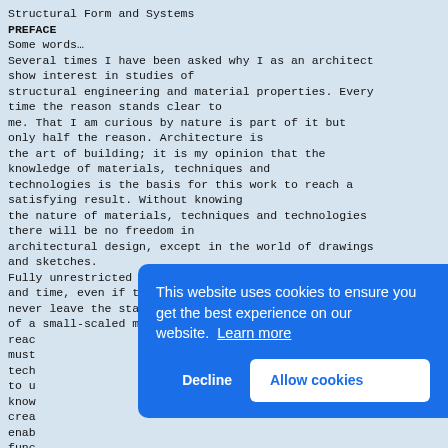Structural Form and Systems
PREFACE
Some words…
Several times I have been asked why I as an architect show interest in studies of structural engineering and material properties. Every time the reason stands clear to me. That I am curious by nature is part of it but only half the reason. Architecture is the art of building; it is my opinion that the knowledge of materials, techniques and technologies is the basis for this work to reach a satisfying result. Without knowing the nature of materials, techniques and technologies there will be no freedom in architectural design, except in the world of drawings and sketches.
Fully unrestricted visionary work must have its place and time, even if the designs never leave the state of lines on a paper or shapes of a small-scaled model. But to reach... must... tech... to u... know... crea... enab... func... real... Timb... complex; soft and workable as well as sustainable and strong; rich in its raw state
This website uses cookies to ensure you get the best experience on our website. Learn more
Decline
Allow cookies